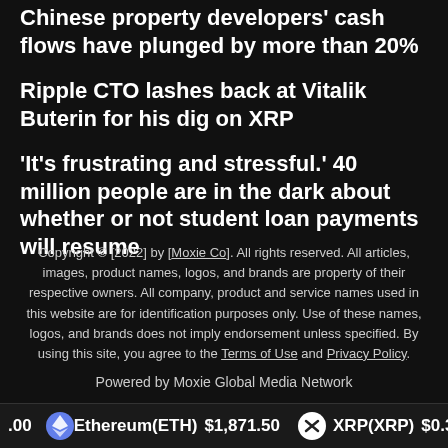Chinese property developers' cash flows have plunged by more than 20%
Ripple CTO lashes back at Vitalik Buterin for his dig on XRP
‘It’s frustrating and stressful.’ 40 million people are in the dark about whether or not student loan payments will resume
Copyright © [2022] by [Moxie Co]. All rights reserved. All articles, images, product names, logos, and brands are property of their respective owners. All company, product and service names used in this website are for identification purposes only. Use of these names, logos, and brands does not imply endorsement unless specified. By using this site, you agree to the Terms of Use and Privacy Policy. Powered by Moxie Global Media Network
[Figure (infographic): Cryptocurrency ticker bar showing Ethereum(ETH) $1,871.50 and XRP(XRP) $0.379447 with icons]